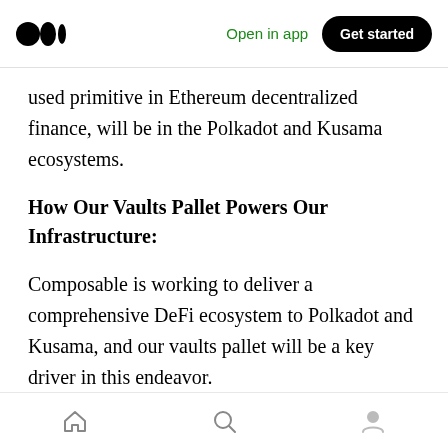Medium logo | Open in app | Get started
used primitive in Ethereum decentralized finance, will be in the Polkadot and Kusama ecosystems.
How Our Vaults Pallet Powers Our Infrastructure:
Composable is working to deliver a comprehensive DeFi ecosystem to Polkadot and Kusama, and our vaults pallet will be a key driver in this endeavor.
In general, vaults act to combine user funds into
Home | Search | Profile